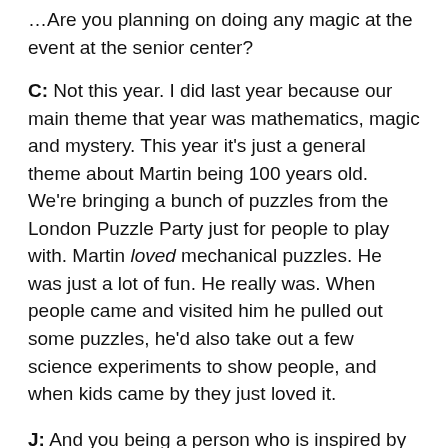…Are you planning on doing any magic at the event at the senior center?
C: Not this year. I did last year because our main theme that year was mathematics, magic and mystery. This year it's just a general theme about Martin being 100 years old. We're bringing a bunch of puzzles from the London Puzzle Party just for people to play with. Martin loved mechanical puzzles. He was just a lot of fun. He really was. When people came and visited him he pulled out some puzzles, he'd also take out a few science experiments to show people, and when kids came by they just loved it.
J: And you being a person who is inspired by Martin, it seems like his legacy just keeps on giving.
C: It really does. What's great is that a lot of his books are still in print, and people are just now discovering th…